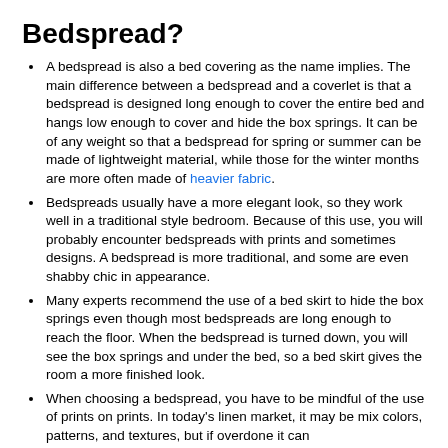Bedspread?
A bedspread is also a bed covering as the name implies. The main difference between a bedspread and a coverlet is that a bedspread is designed long enough to cover the entire bed and hangs low enough to cover and hide the box springs. It can be of any weight so that a bedspread for spring or summer can be made of lightweight material, while those for the winter months are more often made of heavier fabric.
Bedspreads usually have a more elegant look, so they work well in a traditional style bedroom. Because of this use, you will probably encounter bedspreads with prints and sometimes designs. A bedspread is more traditional, and some are even shabby chic in appearance.
Many experts recommend the use of a bed skirt to hide the box springs even though most bedspreads are long enough to reach the floor. When the bedspread is turned down, you will see the box springs and under the bed, so a bed skirt gives the room a more finished look.
When choosing a bedspread, you have to be mindful of the use of prints on prints. In today's linen market, it may be mix colors, patterns, and textures, but if overdone it can…